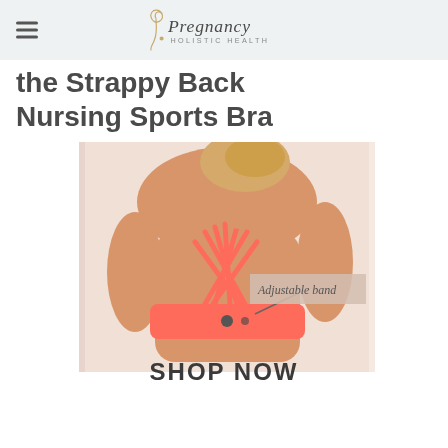Pregnancy Holistic Health
the Strappy Back Nursing Sports Bra
[Figure (photo): Back view of a woman wearing a coral/salmon colored strappy-back nursing sports bra with multiple crossing straps. An overlay label reads 'Adjustable band' with a pointer to the band area.]
SHOP NOW